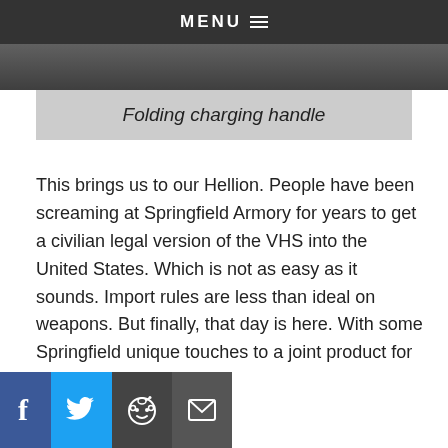MENU
[Figure (photo): Partial photo of a person/object visible as a dark strip]
Folding charging handle
This brings us to our Hellion. People have been screaming at Springfield Armory for years to get a civilian legal version of the VHS into the United States. Which is not as easy as it sounds. Import rules are less than ideal on weapons. But finally, that day is here. With some Springfield unique touches to a joint product for the US market.
Facebook, Twitter, Reddit, Email share buttons